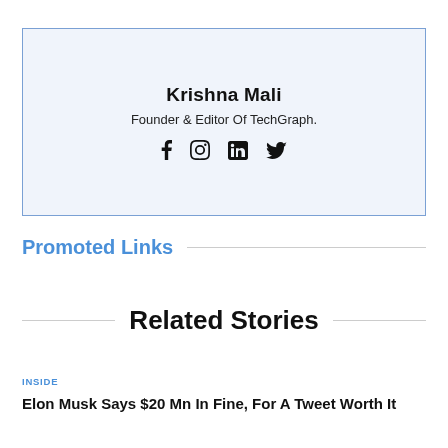Krishna Mali
Founder & Editor Of TechGraph.
Promoted Links
Related Stories
INSIDE
Elon Musk Says $20 Mn In Fine, For A Tweet Worth It